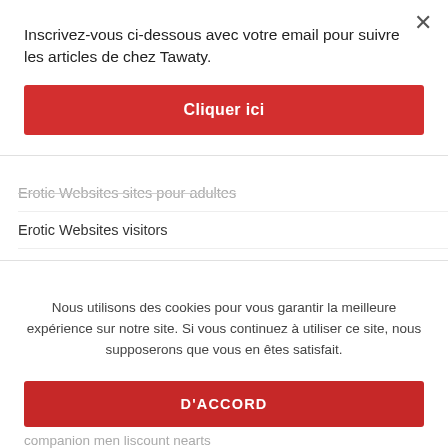Inscrivez-vous ci-dessous avec votre email pour suivre les articles de chez Tawaty.
Cliquer ici
Erotic Websites sites pour adultes
Erotic Websites visitors
escort escort index
escort login
escort top escort sites
Nous utilisons des cookies pour vous garantir la meilleure expérience sur notre site. Si vous continuez à utiliser ce site, nous supposerons que vous en êtes satisfait.
D'ACCORD
companion men liscount nearts